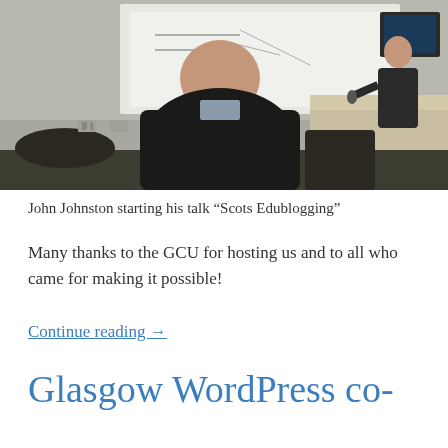[Figure (photo): Photo of a room with a person seated with their back to the camera, another person standing at the front near a projection screen showing text/equations. A desk with monitors is visible on the right side of the room.]
John Johnston starting his talk “Scots Edublogging”
Many thanks to the GCU for hosting us and to all who came for making it possible!
Continue reading →
Glasgow WordPress co-